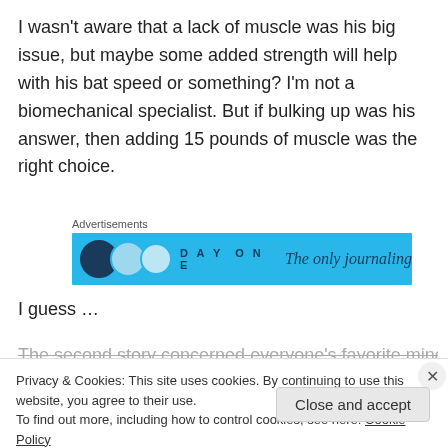I wasn't aware that a lack of muscle was his big issue, but maybe some added strength will help with his bat speed or something? I'm not a biomechanical specialist. But if bulking up was his answer, then adding 15 pounds of muscle was the right choice.
[Figure (other): Advertisement banner for Day One journaling app with blue background, circular icons, and text 'DAY ONE' and 'The only journaling']
I guess …
The second story concerned everyone's favorite minor...
Privacy & Cookies: This site uses cookies. By continuing to use this website, you agree to their use.
To find out more, including how to control cookies, see here: Cookie Policy